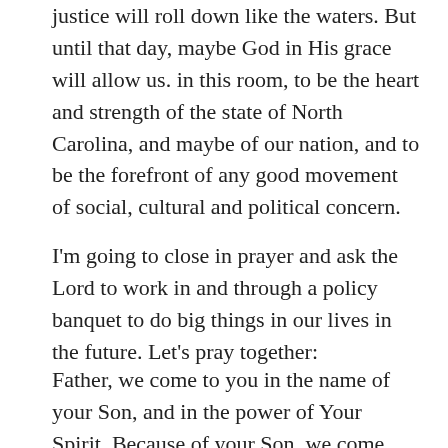justice will roll down like the waters. But until that day, maybe God in His grace will allow us. in this room, to be the heart and strength of the state of North Carolina, and maybe of our nation, and to be the forefront of any good movement of social, cultural and political concern.
I'm going to close in prayer and ask the Lord to work in and through a policy banquet to do big things in our lives in the future. Let's pray together:
Father, we come to you in the name of your Son, and in the power of Your Spirit. Because of your Son, we come boldly before your throne with confidence. We ascribe all glory and power and honor to you and to you alone. We thank you for your goodness to us, that you sent your Son to save us, that you revealed